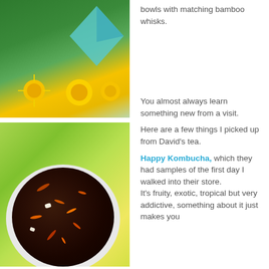[Figure (photo): Photo of yellow dandelion flowers in grass with teal paper/origami shapes]
bowls with matching bamboo whisks.

You almost always learn something new from a visit.
[Figure (photo): Close-up photo of a white bowl filled with dark loose-leaf tea with colorful dried petals on a green blurred background]
Here are a few things I picked up from David's tea.

Happy Kombucha, which they had samples of the first day I walked into their store.
It's fruity, exotic, tropical but very addictive, something about it just makes you